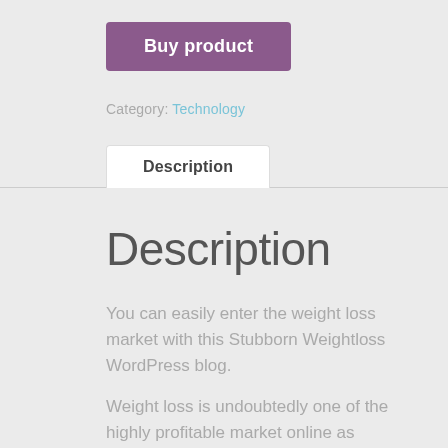Buy product
Category: Technology
Description
Description
You can easily enter the weight loss market with this Stubborn Weightloss WordPress blog.
Weight loss is undoubtedly one of the highly profitable market online as thousands of men and women